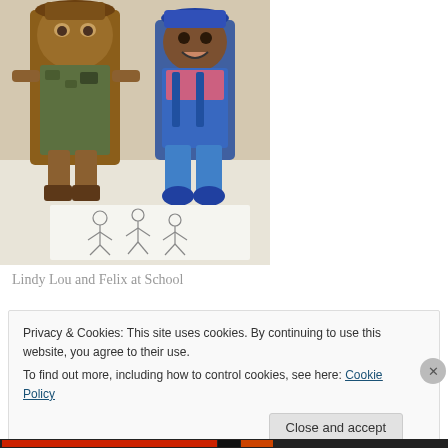[Figure (photo): Photo of two stuffed toy/puppet figures resembling characters, sitting or standing, with pencil sketch drawings of similar figures on paper in front of them on a table. The background is a light-colored room.]
Lindy Lou and Felix at School
Privacy & Cookies: This site uses cookies. By continuing to use this website, you agree to their use.
To find out more, including how to control cookies, see here: Cookie Policy